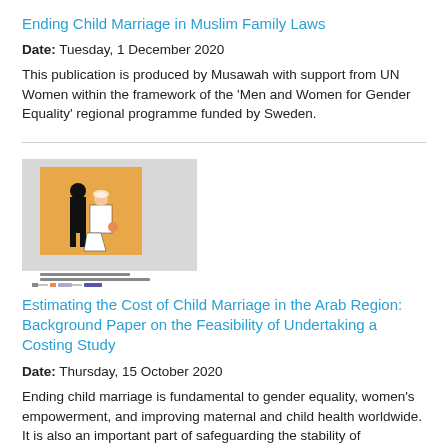Ending Child Marriage in Muslim Family Laws
Date: Tuesday, 1 December 2020
This publication is produced by Musawah with support from UN Women within the framework of the 'Men and Women for Gender Equality' regional programme funded by Sweden.
[Figure (illustration): Thumbnail image of a publication cover showing a bride and groom silhouette on an orange square background, with text below and icons at the bottom.]
Estimating the Cost of Child Marriage in the Arab Region: Background Paper on the Feasibility of Undertaking a Costing Study
Date: Thursday, 15 October 2020
Ending child marriage is fundamental to gender equality, women's empowerment, and improving maternal and child health worldwide. It is also an important part of safeguarding the stability of communities and the global economy. This background paper